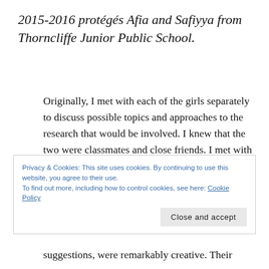2015-2016 protégés Afia and Safiyya from Thorncliffe Junior Public School.
Originally, I met with each of the girls separately to discuss possible topics and approaches to the research that would be involved. I knew that the two were classmates and close friends. I met with the two together with the notion that each could, once the separate presentations were close to completion, step in as an assistant. I had worked with each one to sort of function in the past suggestions, were remarkably creative. Their
Privacy & Cookies: This site uses cookies. By continuing to use this website, you agree to their use.
To find out more, including how to control cookies, see here: Cookie Policy